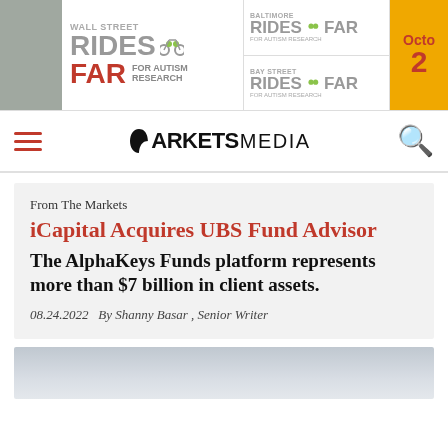[Figure (illustration): Banner advertisement for 'Wall Street Rides FAR for Autism Research' and 'Baltimore Rides FAR' and 'Bay Street Rides FAR', with an orange box showing 'Octo 2']
MARKETS MEDIA
From The Markets
iCapital Acquires UBS Fund Advisor
The AlphaKeys Funds platform represents more than $7 billion in client assets.
08.24.2022   By Shanny Basar , Senior Writer
[Figure (photo): Partial photo at bottom of page, light grey-blue sky or landscape]